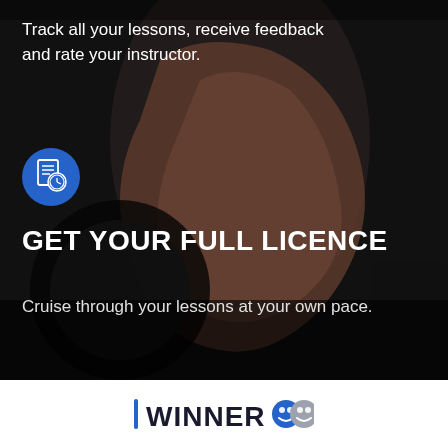[Figure (photo): Dark background photo of a hand gripping a car steering wheel, viewed from above at an angle, with dark ambient lighting.]
Track all your lessons, receive feedback and rate your instructor.
[Figure (illustration): Blue circular icon with a white document/licence graphic with a clock symbol overlay.]
GET YOUR FULL LICENCE
Cruise through your lessons at your own pace.
[Figure (logo): WINNER logo with two circular face/emoji icons in blue and grey, with a blue vertical bar to the left of the text.]